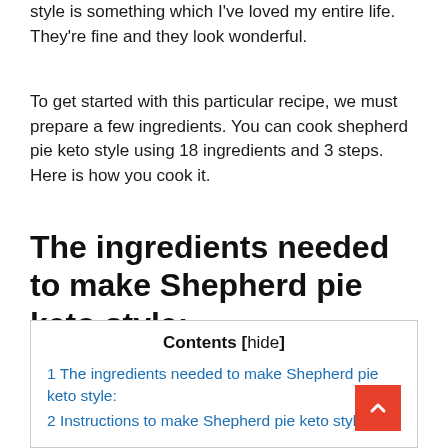style is something which I've loved my entire life. They're fine and they look wonderful.
To get started with this particular recipe, we must prepare a few ingredients. You can cook shepherd pie keto style using 18 ingredients and 3 steps. Here is how you cook it.
The ingredients needed to make Shepherd pie keto style:
Contents [hide]
1 The ingredients needed to make Shepherd pie keto style:
2 Instructions to make Shepherd pie keto style: